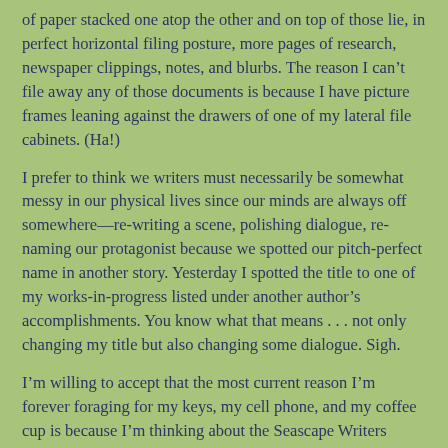of paper stacked one atop the other and on top of those lie, in perfect horizontal filing posture, more pages of research, newspaper clippings, notes, and blurbs. The reason I can't file away any of those documents is because I have picture frames leaning against the drawers of one of my lateral file cabinets. (Ha!)
I prefer to think we writers must necessarily be somewhat messy in our physical lives since our minds are always off somewhere—rewriting a scene, polishing dialogue, re-naming our protagonist because we spotted our pitch-perfect name in another story. Yesterday I spotted the title to one of my works-in-progress listed under another author's accomplishments. You know what that means . . . not only changing my title but also changing some dialogue. Sigh.
I'm willing to accept that the most current reason I'm forever foraging for my keys, my cell phone, and my coffee cup is because I'm thinking about the Seascape Writers Retreat. On Sept. 18, I'll be honing my writing skills in Connecticut with seventeen other mystery writers (including fellow Lyrical Pen Tracy).
I expect to get some honest, blunt feedback but hoping for at least